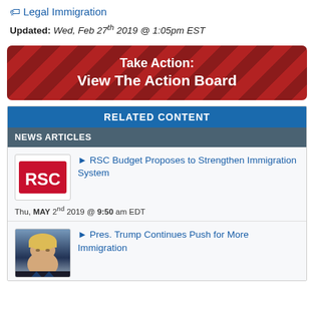Legal Immigration
Updated: Wed, Feb 27th 2019 @ 1:05pm EST
[Figure (infographic): Red banner with diagonal stripe pattern reading 'Take Action: View The Action Board' in white bold text]
RELATED CONTENT
NEWS ARTICLES
[Figure (logo): RSC logo in red rectangle with white letters]
RSC Budget Proposes to Strengthen Immigration System
Thu, MAY 2nd 2019 @ 9:50 am EDT
[Figure (photo): Photo of President Trump]
Pres. Trump Continues Push for More Immigration